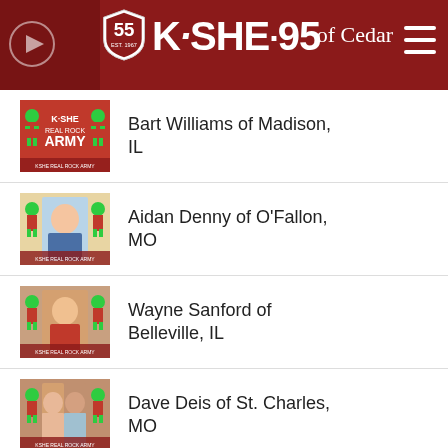[Figure (logo): KSHE 95 radio station header with 55th anniversary shield logo, red background, hamburger menu icon, and partial text 'of Cedar']
Bart Williams of Madison, IL
Aidan Denny of O'Fallon, MO
Wayne Sanford of Belleville, IL
Dave Deis of St. Charles, MO